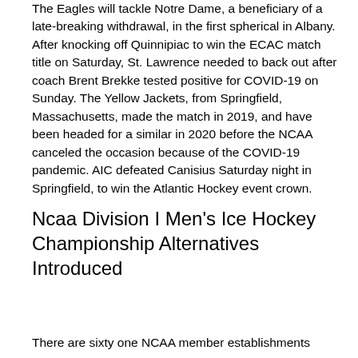The Eagles will tackle Notre Dame, a beneficiary of a late-breaking withdrawal, in the first spherical in Albany. After knocking off Quinnipiac to win the ECAC match title on Saturday, St. Lawrence needed to back out after coach Brent Brekke tested positive for COVID-19 on Sunday. The Yellow Jackets, from Springfield, Massachusetts, made the match in 2019, and have been headed for a similar in 2020 before the NCAA canceled the occasion because of the COVID-19 pandemic. AIC defeated Canisius Saturday night in Springfield, to win the Atlantic Hockey event crown.
Ncaa Division I Men's Ice Hockey Championship Alternatives Introduced
There are sixty one NCAA member establishments